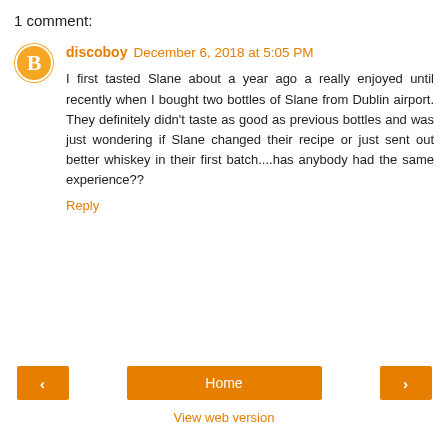1 comment:
discoboy December 6, 2018 at 5:05 PM
I first tasted Slane about a year ago a really enjoyed until recently when I bought two bottles of Slane from Dublin airport. They definitely didn't taste as good as previous bottles and was just wondering if Slane changed their recipe or just sent out better whiskey in their first batch....has anybody had the same experience??
Reply
Home
View web version